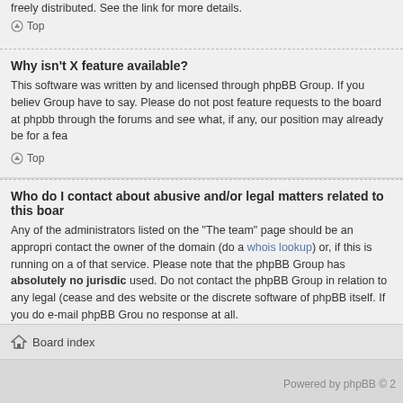freely distributed. See the link for more details.
Top
Why isn't X feature available?
This software was written by and licensed through phpBB Group. If you believe Group have to say. Please do not post feature requests to the board at phpbb through the forums and see what, if any, our position may already be for a fea
Top
Who do I contact about abusive and/or legal matters related to this boar
Any of the administrators listed on the "The team" page should be an appropri contact the owner of the domain (do a whois lookup) or, if this is running on a of that service. Please note that the phpBB Group has absolutely no jurisdic used. Do not contact the phpBB Group in relation to any legal (cease and des website or the discrete software of phpBB itself. If you do e-mail phpBB Grou no response at all.
Top
Board index
Powered by phpBB © 2